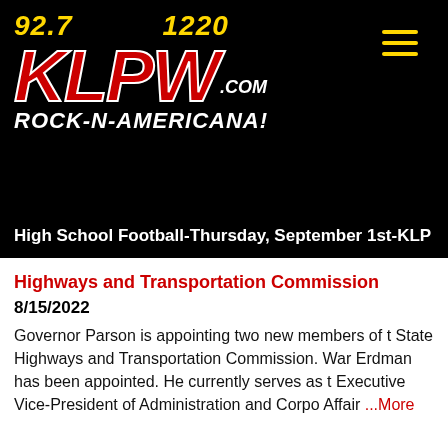[Figure (logo): KLPW radio station logo with frequencies 92.7 and 1220, red KLPW.com lettering, tagline ROCK-N-AMERICANA! on black background]
High School Football-Thursday, September 1st-KLP
Highways and Transportation Commission
8/15/2022
Governor Parson is appointing two new members of the State Highways and Transportation Commission. Warren Erdman has been appointed. He currently serves as the Executive Vice-President of Administration and Corporate Affair ...More